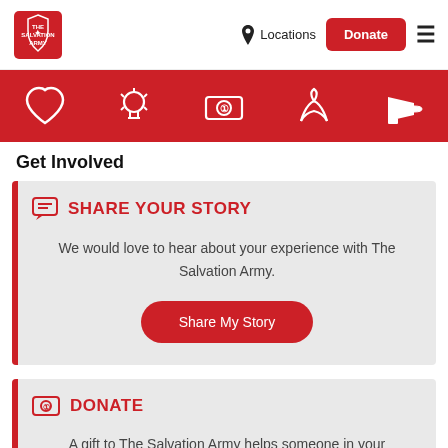[Figure (logo): The Salvation Army shield logo in red]
Locations
Donate
[Figure (infographic): Red navigation bar with white icons: heart, lightbulb, dollar bill, hands holding heart, megaphone]
Get Involved
SHARE YOUR STORY
We would love to hear about your experience with The Salvation Army.
Share My Story
DONATE
A gift to The Salvation Army helps someone in your community.